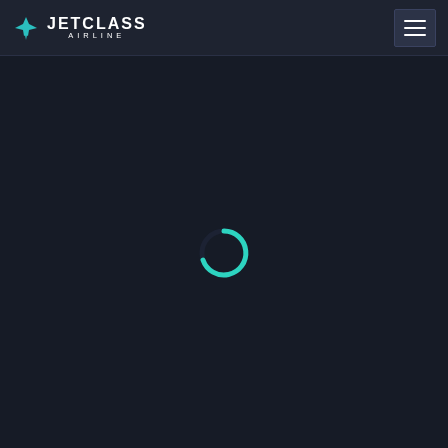JETCLASS AIRLINE — navigation header with logo and hamburger menu
[Figure (other): Loading spinner — a teal/cyan circular arc spinner (C-shape) centered on a dark background, indicating page content is loading]